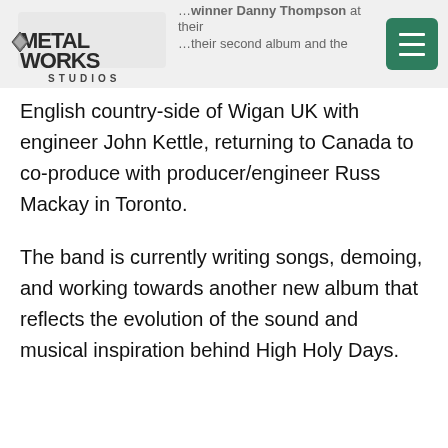Metal Works Studios
English country-side of Wigan UK with engineer John Kettle, returning to Canada to co-produce with producer/engineer Russ Mackay in Toronto.
The band is currently writing songs, demoing, and working towards another new album that reflects the evolution of the sound and musical inspiration behind High Holy Days.